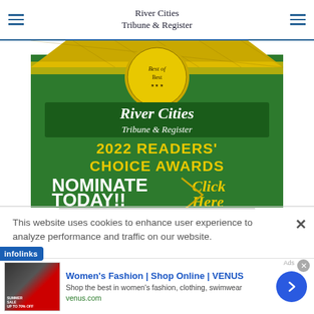River Cities Tribune & Register
[Figure (illustration): River Cities Tribune & Register 2022 Readers' Choice Awards badge with text NOMINATE TODAY! Click Here on a green and gold background]
This website uses cookies to enhance user experience to analyze performance and traffic on our website.
[Figure (infographic): Infolinks advertisement badge followed by Women's Fashion ad: Women's Fashion | Shop Online | VENUS, Shop the best in women's fashion, clothing, swimwear, venus.com]